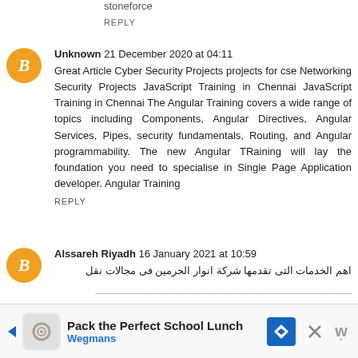stoneforce
REPLY
Unknown  21 December 2020 at 04:11
Great Article Cyber Security Projects projects for cse Networking Security Projects JavaScript Training in Chennai JavaScript Training in Chennai The Angular Training covers a wide range of topics including Components, Angular Directives, Angular Services, Pipes, security fundamentals, Routing, and Angular programmability. The new Angular TRaining will lay the foundation you need to specialise in Single Page Application developer. Angular Training
REPLY
Alssareh Riyadh  16 January 2021 at 10:59
اهم الخدمات التى تقدمها شركة انوار الحرمين فى مجالات نقل
[Figure (infographic): Advertisement banner: Pack the Perfect School Lunch - Wegmans]